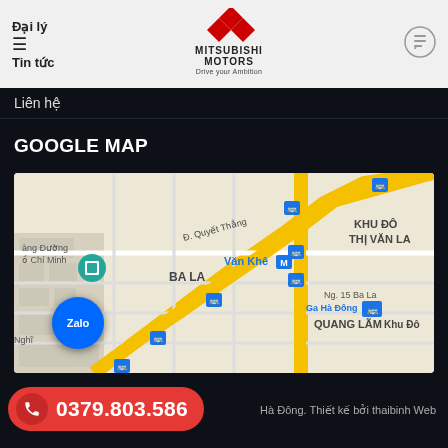Đại lý
≡
Tin tức
[Figure (logo): Mitsubishi Motors logo with text 'Drive your Ambition']
Liên hệ
GOOGLE MAP
[Figure (map): Google Map showing area around Ba La, Văn Khê, Ga Hà Đông, Khu Đô Thị Văn La, Quang Lãm in Hà Đông, Vietnam. Streets include Đ. Quyết Thắng, Ng. 15 Ba La. Several bus stop icons visible. Zalo chat button overlay in bottom left.]
0379.803.586
Hà Đông. Thiết kế bởi thaibinh Web